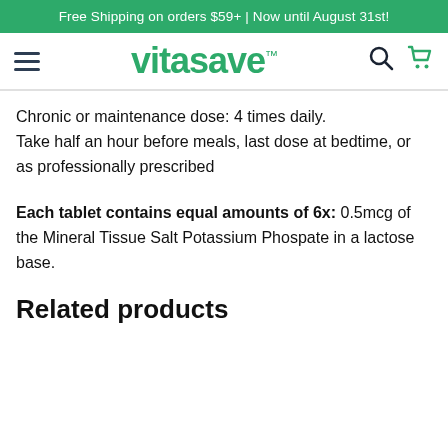Free Shipping on orders $59+ | Now until August 31st!
[Figure (logo): Vitasave logo with hamburger menu, search icon, and shopping cart icon]
Chronic or maintenance dose: 4 times daily. Take half an hour before meals, last dose at bedtime, or as professionally prescribed
Each tablet contains equal amounts of 6x: 0.5mcg of the Mineral Tissue Salt Potassium Phospate in a lactose base.
Related products